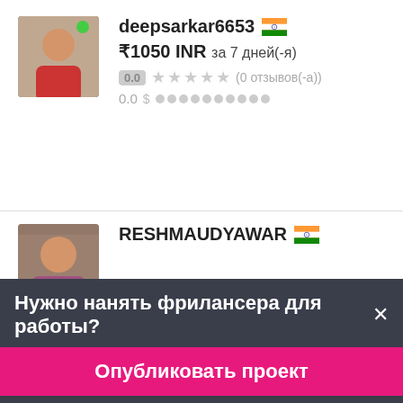deepsarkar6653 🇮🇳
₹1050 INR за 7 дней(-я)
0.0 ★★★★★ (0 отзывов(-а))
0.0  $
[Figure (photo): Profile photo of deepsarkar6653 - young man in red shirt]
RESHMAUDYAWAR 🇮🇳
[Figure (photo): Profile photo of RESHMAUDYAWAR - woman]
Нужно нанять фрилансера для работы?×
Опубликовать проект